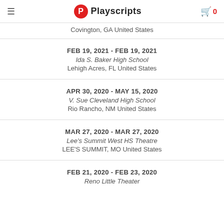Playscripts
Covington, GA United States
FEB 19, 2021 - FEB 19, 2021
Ida S. Baker High School
Lehigh Acres, FL United States
APR 30, 2020 - MAY 15, 2020
V. Sue Cleveland High School
Rio Rancho, NM United States
MAR 27, 2020 - MAR 27, 2020
Lee's Summit West HS Theatre
LEE'S SUMMIT, MO United States
FEB 21, 2020 - FEB 23, 2020
Reno Little Theater